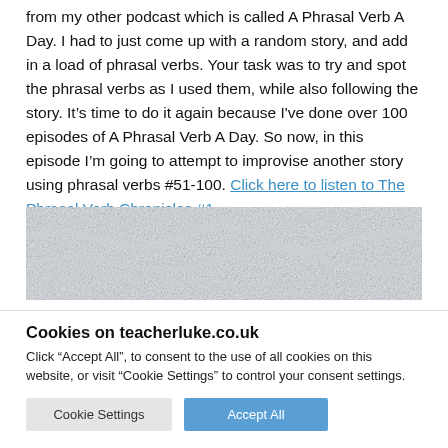from my other podcast which is called A Phrasal Verb A Day. I had to just come up with a random story, and add in a load of phrasal verbs. Your task was to try and spot the phrasal verbs as I used them, while also following the story. It's time to do it again because I've done over 100 episodes of A Phrasal Verb A Day. So now, in this episode I'm going to attempt to improvise another story using phrasal verbs #51-100. Click here to listen to The Phrasal Verb Chronicles #1.
[Figure (photo): A crumpled light grey/white textured paper background image.]
Cookies on teacherluke.co.uk
Click "Accept All", to consent to the use of all cookies on this website, or visit "Cookie Settings" to control your consent settings.